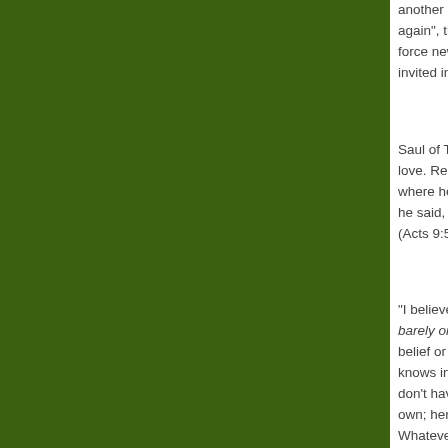another broken a again", they long force new ways t invited in, and if
Saul of Tarsus di love. Restlessly, where he was co he said, 'Who are (Acts 9:5)
“I believe; help m barely or partly b belief or faith is n knows in some s don't have to be own; here it is ar Whatever the ca races to call out,